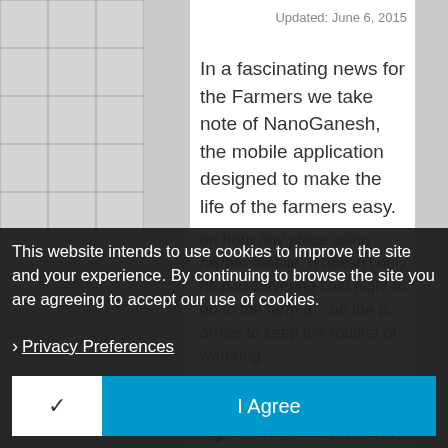Updated: June 6, 2015
In a fascinating news for the Farmers we take note of NanoGanesh, the mobile application designed to make the life of the farmers easy.
Developed by Ossain Agro Automation (Pune) it let the farmer to hand over the control of
on from any place using his/her mobile. It doesn't only help in shivering cold night to go to the farm a... on the p... armer to keep the routine of watering
This website intends to use cookies to improve the site and your experience. By continuing to browse the site you are agreeing to accept our use of cookies.
Privacy Preferences
I Agree